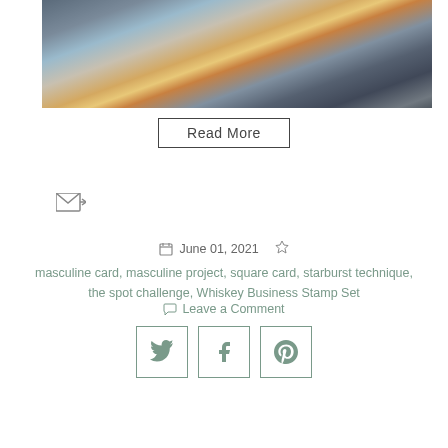[Figure (photo): Photo of craft supplies including stamping pads, markers/pens, and decorative cards on a wooden surface. A 'Stampin' Pad' product is visible.]
Read More
[Figure (other): Email/share icon - small envelope with arrow]
June 01, 2021
masculine card, masculine project, square card, starburst technique, the spot challenge, Whiskey Business Stamp Set
Leave a Comment
[Figure (other): Social share buttons: Twitter, Facebook, Pinterest icons in square borders]